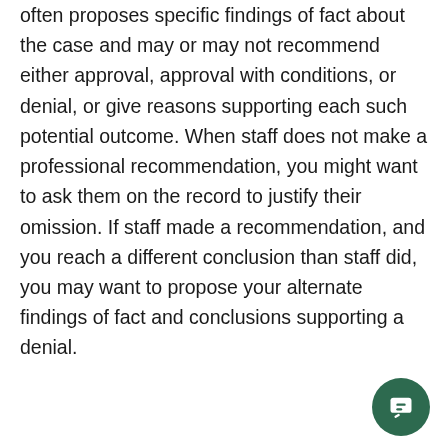often proposes specific findings of fact about the case and may or may not recommend either approval, approval with conditions, or denial, or give reasons supporting each such potential outcome. When staff does not make a professional recommendation, you might want to ask them on the record to justify their omission. If staff made a recommendation, and you reach a different conclusion than staff did, you may want to propose your alternate findings of fact and conclusions supporting a denial.